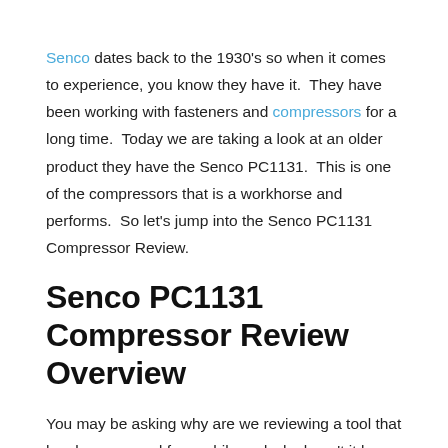Senco dates back to the 1930's so when it comes to experience, you know they have it. They have been working with fasteners and compressors for a long time. Today we are taking a look at an older product they have the Senco PC1131. This is one of the compressors that is a workhorse and performs. So let's jump into the Senco PC1131 Compressor Review.
Senco PC1131 Compressor Review Overview
You may be asking why are we reviewing a tool that has been around for a while and why hasn't it been updated?